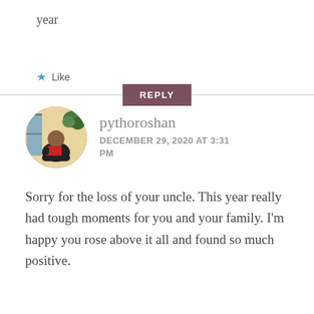year
Like
REPLY
[Figure (photo): Circular avatar photo of a person sitting and reading a book, with plants in the background]
pythoroshan
DECEMBER 29, 2020 AT 3:31 PM
Sorry for the loss of your uncle. This year really had tough moments for you and your family. I'm happy you rose above it all and found so much positive.